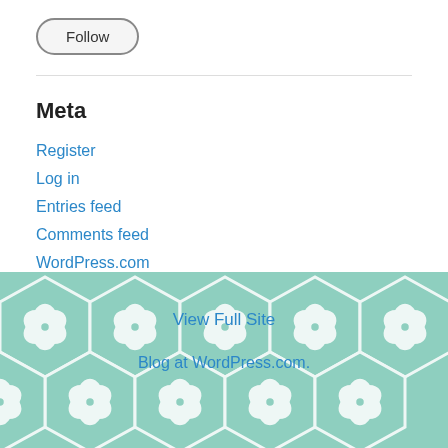[Figure (other): Follow button — rounded pill-shaped button with 'Follow' label and gray border]
Meta
Register
Log in
Entries feed
Comments feed
WordPress.com
View Full Site
Blog at WordPress.com.